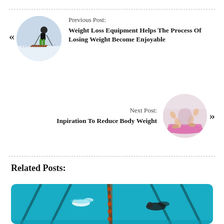Previous Post:
Weight Loss Equipment Helps The Process Of Losing Weight Become Enjoyable
[Figure (photo): Circular thumbnail of a person skiing down a slope in green pants]
Next Post:
Inpiration To Reduce Body Weight
[Figure (photo): Circular thumbnail of a person in a yoga/exercise pose on a pink mat, close-up of feet and hands]
Related Posts:
[Figure (photo): Swimming pool with lanes and swimmers doing laps, aerial view with turquoise water]